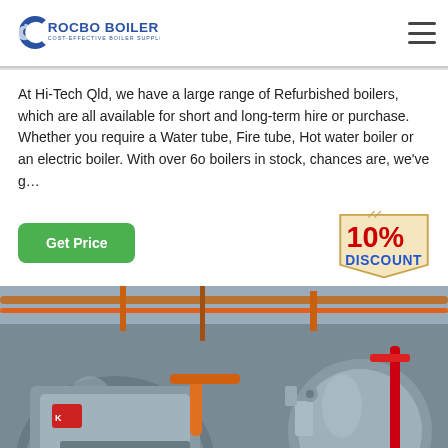ROCBO BOILER — COST-EFFECTIVE BOILER SUPPLIER
At Hi-Tech Qld, we have a large range of Refurbished boilers, which are all available for short and long-term hire or purchase. Whether you require a Water tube, Fire tube, Hot water boiler or an electric boiler. With over 60 boilers in stock, chances are, we've g…
[Figure (infographic): Green 'Get Price' button on the left; '10% DISCOUNT' badge graphic on the right]
[Figure (photo): Industrial boiler room with large cylindrical boilers, orange and red pipes running along ceiling and walls, metallic grey finish, ROCBO branded boiler visible]